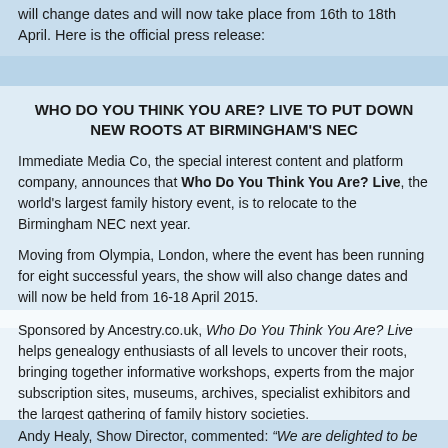will change dates and will now take place from 16th to 18th April. Here is the official press release:
WHO DO YOU THINK YOU ARE? LIVE TO PUT DOWN NEW ROOTS AT BIRMINGHAM'S NEC
Immediate Media Co, the special interest content and platform company, announces that Who Do You Think You Are? Live, the world's largest family history event, is to relocate to the Birmingham NEC next year.
Moving from Olympia, London, where the event has been running for eight successful years, the show will also change dates and will now be held from 16-18 April 2015.
Sponsored by Ancestry.co.uk, Who Do You Think You Are? Live helps genealogy enthusiasts of all levels to uncover their roots, bringing together informative workshops, experts from the major subscription sites, museums, archives, specialist exhibitors and the largest gathering of family history societies.
Andy Healy, Show Director, commented: “We are delighted to be